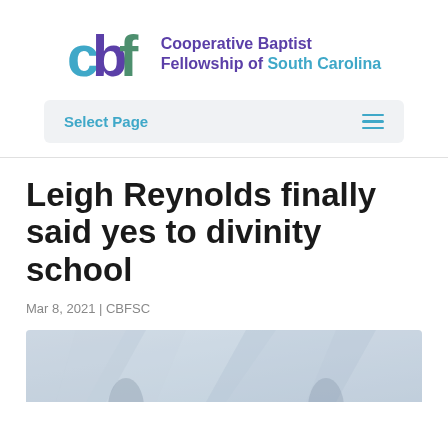[Figure (logo): Cooperative Baptist Fellowship of South Carolina logo with stylized 'cbf' letters in teal, purple, and green, followed by organization name text]
Select Page
Leigh Reynolds finally said yes to divinity school
Mar 8, 2021 | CBFSC
[Figure (photo): Partial photo at bottom of page, showing a light gray geometric background with faint shapes and partial figures at the very bottom edge]